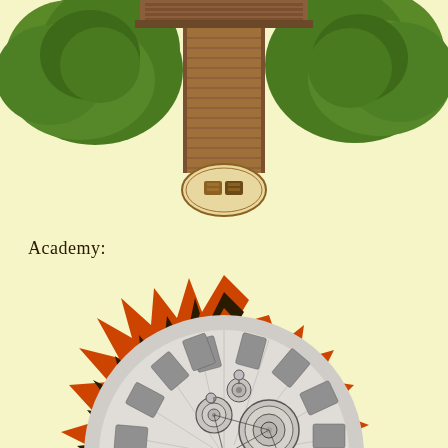[Figure (illustration): Top-down view of a fantasy building entrance with wooden walkway/bridge, flanked by two large green trees/bushes. A small oval desk or counter with scrolls/items is visible at the bottom of the walkway. Wooden roof visible at top. Light yellow background.]
Academy:
[Figure (map): Top-down fantasy map illustration of a large circular academy or arena structure. The outer edge features a jagged sunburst/starburst pattern with alternating orange/red and dark zigzag borders. Inside is a gray circular floor plan with multiple circular platforms, mechanical gear-like structures, concentric ring platforms, and interconnected circular elements suggesting a magical or mechanical academy interior. The overall structure resembles a mandala or clockwork mechanism viewed from above.]